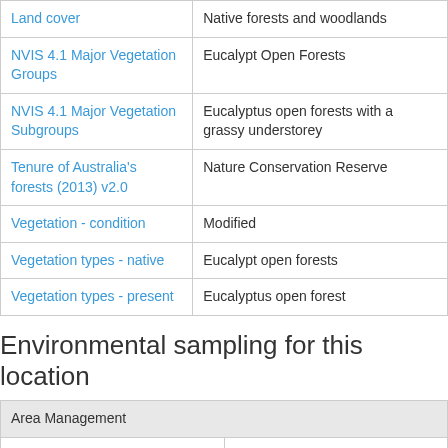| Attribute | Value |
| --- | --- |
| Land cover | Native forests and woodlands |
| NVIS 4.1 Major Vegetation Groups | Eucalypt Open Forests |
| NVIS 4.1 Major Vegetation Subgroups | Eucalyptus open forests with a grassy understorey |
| Tenure of Australia's forests (2013) v2.0 | Nature Conservation Reserve |
| Vegetation - condition | Modified |
| Vegetation types - native | Eucalypt open forests |
| Vegetation types - present | Eucalyptus open forest |
Environmental sampling for this location
| Attribute | Value |
| --- | --- |
| Area Management |  |
| Natural resource management expenditure | 2094150.0 $ |
| Biodiversity |  |
| Acacia - Miller et al 2012 - 0.5 | 4.6961 |